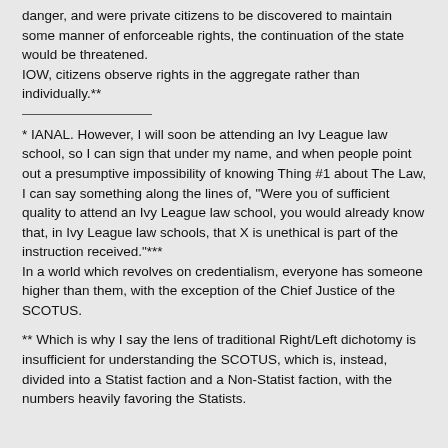danger, and were private citizens to be discovered to maintain some manner of enforceable rights, the continuation of the state would be threatened.
IOW, citizens observe rights in the aggregate rather than individually.**
* IANAL. However, I will soon be attending an Ivy League law school, so I can sign that under my name, and when people point out a presumptive impossibility of knowing Thing #1 about The Law, I can say something along the lines of, "Were you of sufficient quality to attend an Ivy League law school, you would already know that, in Ivy League law schools, that X is unethical is part of the instruction received."***
In a world which revolves on credentialism, everyone has someone higher than them, with the exception of the Chief Justice of the SCOTUS.
** Which is why I say the lens of traditional Right/Left dichotomy is insufficient for understanding the SCOTUS, which is, instead, divided into a Statist faction and a Non-Statist faction, with the numbers heavily favoring the Statists.